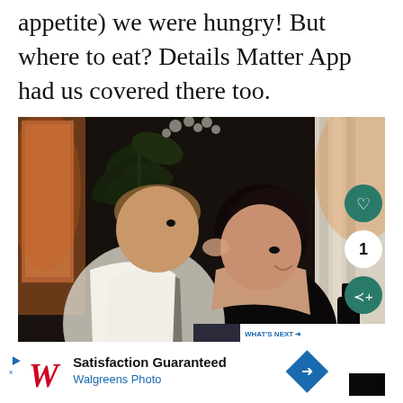appetite) we were hungry! But where to eat? Details Matter App had us covered there too.
[Figure (photo): A couple at a restaurant event; a man kisses a smiling woman on the cheek. Social sharing buttons (heart, count '1', share) visible on right. 'What's Next' overlay shows 'The Chance To Voice Disney...']
[Figure (other): Walgreens Photo advertisement banner: 'Satisfaction Guaranteed / Walgreens Photo' with play button, Walgreens cursive logo, and blue diamond arrow icon]